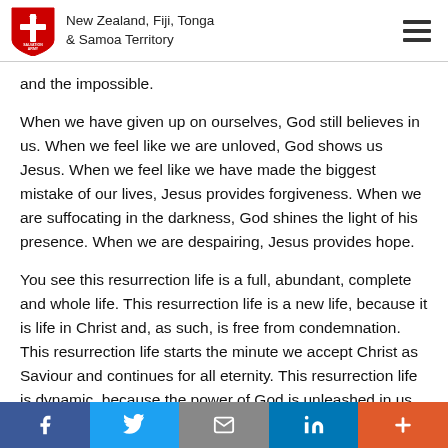New Zealand, Fiji, Tonga & Samoa Territory
and the impossible.
When we have given up on ourselves, God still believes in us. When we feel like we are unloved, God shows us Jesus. When we feel like we have made the biggest mistake of our lives, Jesus provides forgiveness. When we are suffocating in the darkness, God shines the light of his presence. When we are despairing, Jesus provides hope.
You see this resurrection life is a full, abundant, complete and whole life. This resurrection life is a new life, because it is life in Christ and, as such, is free from condemnation. This resurrection life starts the minute we accept Christ as Saviour and continues for all eternity. This resurrection life is dynamic, because the power of God is unleashed in us. The change starts on the inside and transforms how we view everything.
f  Twitter  Email  in  +